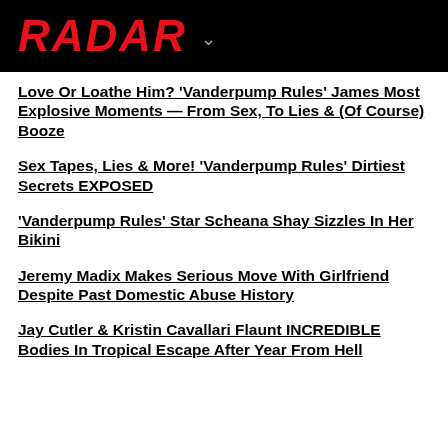RADAR
Love Or Loathe Him? 'Vanderpump Rules' James Most Explosive Moments — From Sex, To Lies & (Of Course) Booze
Sex Tapes, Lies & More! 'Vanderpump Rules' Dirtiest Secrets EXPOSED
'Vanderpump Rules' Star Scheana Shay Sizzles In Her Bikini
Jeremy Madix Makes Serious Move With Girlfriend Despite Past Domestic Abuse History
Jay Cutler & Kristin Cavallari Flaunt INCREDIBLE Bodies In Tropical Escape After Year From Hell